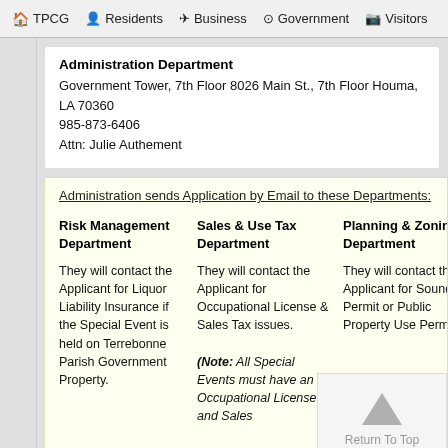TPCG   Residents   Business   Government   Visitors
Administration Department
Government Tower, 7th Floor 8026 Main St., 7th Floor Houma, LA 70360
985-873-6406
Attn: Julie Authement
Administration sends Application by Email to these Departments:
Risk Management Department
They will contact the Applicant for Liquor Liability Insurance if the Special Event is held on Terrebonne Parish Government Property.
Sales & Use Tax Department
They will contact the Applicant for Occupational License & Sales Tax issues.
(Note: All Special Events must have an Occupational License and Sales Tax
Planning & Zoning Department
They will contact the Applicant for Sound Permit or Public Property Use Permit.
Custom Department
They will contact the Applicant for Collection Payment